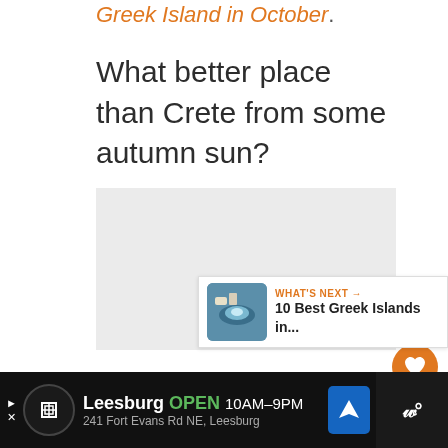Greek Island in October.
What better place than Crete from some autumn sun?
11
WHAT'S NEXT → 10 Best Greek Islands in...
Leesburg OPEN 10AM–9PM 241 Fort Evans Rd NE, Leesburg